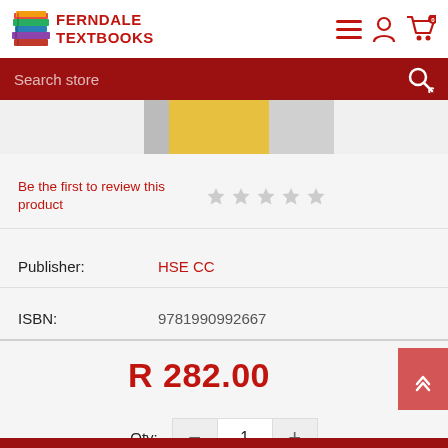[Figure (logo): Ferndale Textbooks logo with stack of colorful books and red text]
Search store
[Figure (photo): Partial product book cover image, yellow and grey tones]
Be the first to review this product
Publisher: HSE CC
ISBN: 9781990992667
R 282.00
Qty: 1